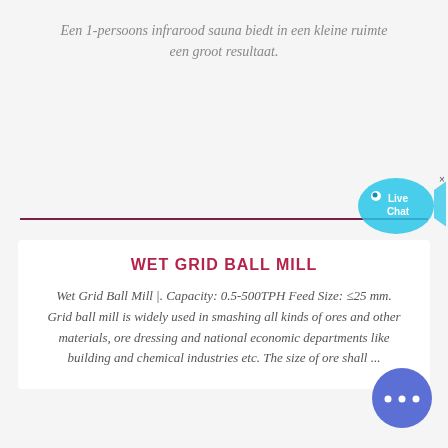Een 1-persoons infrarood sauna biedt in een kleine ruimte een groot resultaat.
[Figure (illustration): Live Chat widget — a cyan speech bubble with 'Live Chat' text and a fish shape, with a small close (x) button in the top right corner.]
WET GRID BALL MILL
Wet Grid Ball Mill |. Capacity: 0.5-500TPH Feed Size: ≤25 mm. Grid ball mill is widely used in smashing all kinds of ores and other materials, ore dressing and national economic departments like building and chemical industries etc. The size of ore shall ...
[Figure (illustration): Round blue chat button with three white dots (ellipsis), positioned in the bottom right corner.]